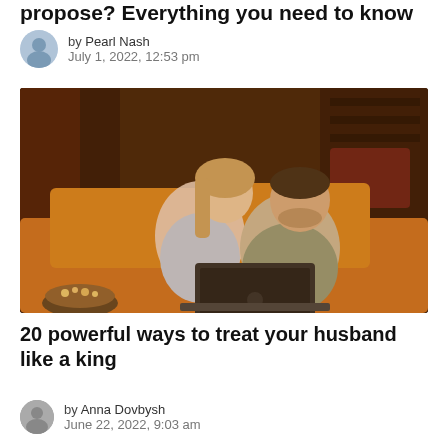propose? Everything you need to know
by Pearl Nash
July 1, 2022, 12:53 pm
[Figure (photo): A couple sitting on an orange couch together, the woman leaning on the man who is using a laptop, in a warmly lit room]
20 powerful ways to treat your husband like a king
by Anna Dovbysh
June 22, 2022, 9:03 am